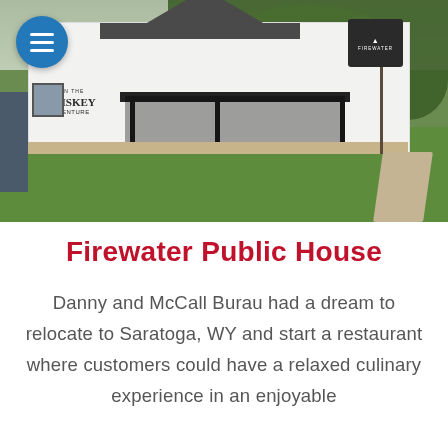[Figure (photo): Exterior photo of Firewater Public House, a white building with dark trim, covered porch, green lawn, and a Firewater sign on a post. A blue circular hamburger menu icon overlay is visible in the top-left corner.]
Firewater Public House
Danny and McCall Burau had a dream to relocate to Saratoga, WY and start a restaurant where customers could have a relaxed culinary experience in an enjoyable